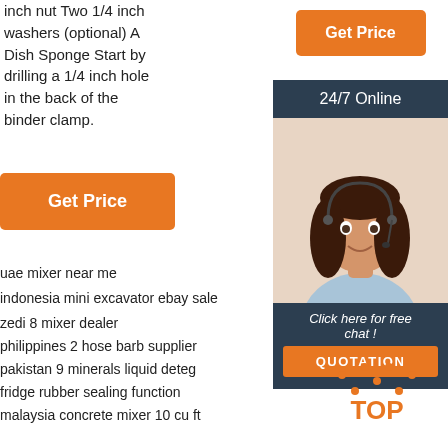inch nut Two 1/4 inch washers (optional) A Dish Sponge Start by drilling a 1/4 inch hole in the back of the binder clamp.
[Figure (other): Orange 'Get Price' button (top right)]
[Figure (other): Orange 'Get Price' button (left)]
[Figure (photo): 24/7 Online chat widget showing a woman wearing a headset, with 'Click here for free chat!' text and QUOTATION button]
uae mixer near me
indonesia mini excavator ebay sale
zedi 8 mixer dealer
philippines 2 hose barb supplier
pakistan 9 minerals liquid deteg
fridge rubber sealing function
malaysia concrete mixer 10 cu ft
[Figure (logo): TOP logo with orange dotted arc above the word TOP in orange]